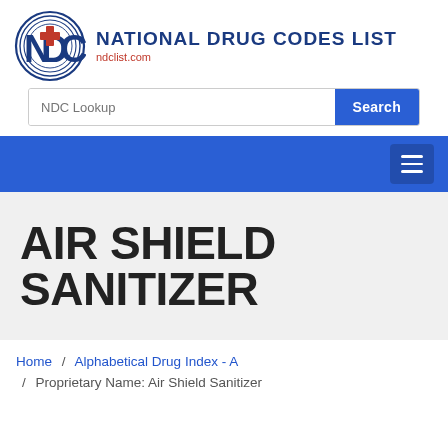[Figure (logo): NDC National Drug Codes List logo with circular blue NDC emblem and red cross, text 'NATIONAL DRUG CODES LIST' and 'ndclist.com']
NDC Lookup
Search
AIR SHIELD SANITIZER
Home / Alphabetical Drug Index - A / Proprietary Name: Air Shield Sanitizer